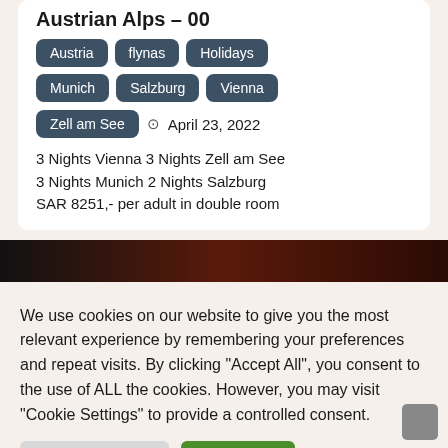Austrian Alps – 00
Austria
flynas
Holidays
Munich
Salzburg
Vienna
Zell am See
April 23, 2022
3 Nights Vienna 3 Nights Zell am See 3 Nights Munich 2 Nights Salzburg SAR 8251,- per adult in double room
[Figure (photo): Dark banner image, mostly black with reddish-brown gradient on the right side]
We use cookies on our website to give you the most relevant experience by remembering your preferences and repeat visits. By clicking "Accept All", you consent to the use of ALL the cookies. However, you may visit "Cookie Settings" to provide a controlled consent.
Cookie Settings
Accept All